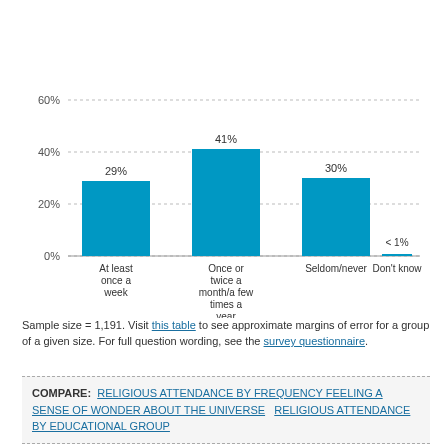[Figure (bar-chart): ]
Sample size = 1,191. Visit this table to see approximate margins of error for a group of a given size. For full question wording, see the survey questionnaire.
COMPARE: RELIGIOUS ATTENDANCE BY FREQUENCY FEELING A SENSE OF WONDER ABOUT THE UNIVERSE  RELIGIOUS ATTENDANCE BY EDUCATIONAL GROUP